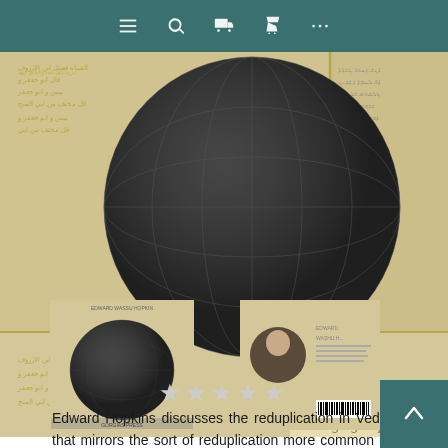[Figure (screenshot): Navigation bar with menu, search, monitor, cart, and more icons on teal background]
[Figure (photo): Book cover for Gorgias Press publication on Vedic reduplication of nouns and adjectives, showing a globe with ancient text manuscripts in background with Arabic and Syriac scripts, and the Gorgias Press logo]
[Figure (photo): Thumbnail of book front cover showing cuneiform tablet sphere]
[Figure (photo): Thumbnail of book back cover showing author photo and barcode]
★★★★★
Edward Hopkins discusses the reduplication in Vedic that mirrors the sort of reduplication more common in Indo-European verbs, and suggests verbal origins for such nouns.